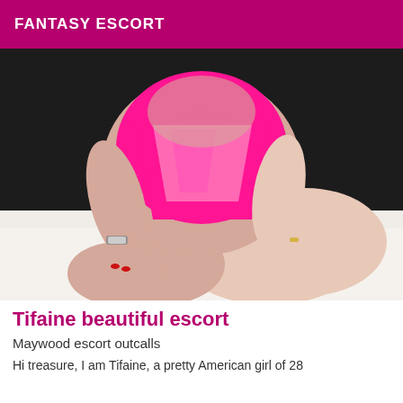FANTASY ESCORT
[Figure (photo): Woman wearing a bright pink/magenta bodysuit or dress, kneeling on a white bed, torso and legs visible, wearing a silver watch and ring with red nail polish]
Tifaine beautiful escort
Maywood escort outcalls
Hi treasure, I am Tifaine, a pretty American girl of 28